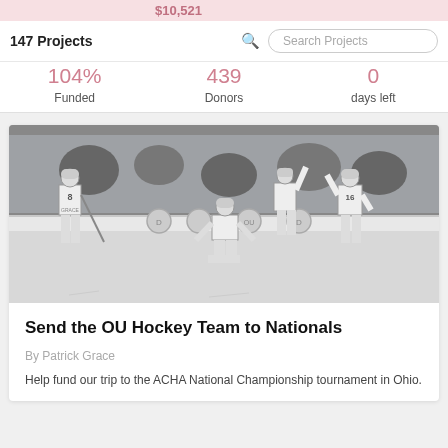$10,521
147 Projects
Search Projects
104%
439
0
Funded
Donors
days left
[Figure (photo): Black and white photo of OU hockey team celebrating on ice, players wearing jerseys with numbers 8 and 16 visible, kneeling and raising arms in celebration, with rink boards and sponsor logos in background]
Send the OU Hockey Team to Nationals
By Patrick Grace
Help fund our trip to the ACHA National Championship tournament in Ohio.